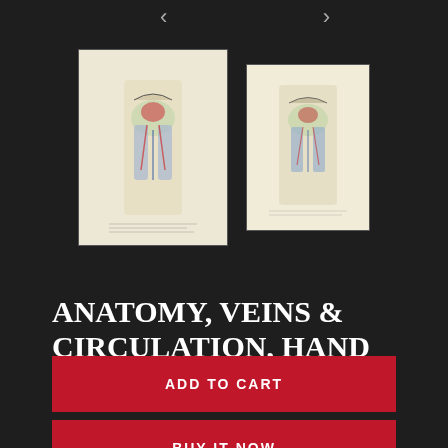[Figure (photo): Two thumbnail images of a hand-colored anatomical engraving showing veins and circulation. Left thumbnail is larger with a cream/beige background, right is slightly smaller. Both show a torso anatomy illustration with colored detail.]
ANATOMY, VEINS & CIRCULATION, HAND COLORED ENGRAVING
$45.00 USD
ADD TO CART
BUY IT NOW